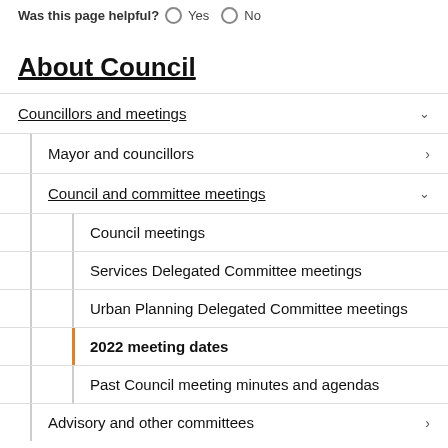Was this page helpful? Yes No
About Council
Councillors and meetings
Mayor and councillors
Council and committee meetings
Council meetings
Services Delegated Committee meetings
Urban Planning Delegated Committee meetings
2022 meeting dates
Past Council meeting minutes and agendas
Advisory and other committees